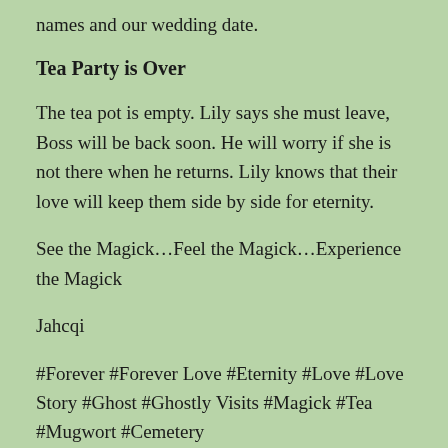names and our wedding date.
Tea Party is Over
The tea pot is empty. Lily says she must leave, Boss will be back soon. He will worry if she is not there when he returns. Lily knows that their love will keep them side by side for eternity.
See the Magick…Feel the Magick…Experience the Magick
Jahcqi
#Forever #Forever Love #Eternity #Love #Love Story #Ghost #Ghostly Visits #Magick #Tea #Mugwort #Cemetery